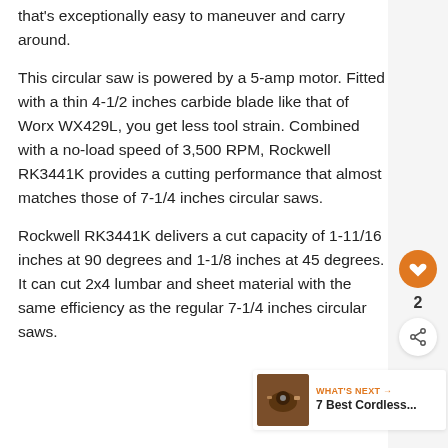that's exceptionally easy to maneuver and carry around.
This circular saw is powered by a 5-amp motor. Fitted with a thin 4-1/2 inches carbide blade like that of Worx WX429L, you get less tool strain. Combined with a no-load speed of 3,500 RPM, Rockwell RK3441K provides a cutting performance that almost matches those of 7-1/4 inches circular saws.
Rockwell RK3441K delivers a cut capacity of 1-11/16 inches at 90 degrees and 1-1/8 inches at 45 degrees. It can cut 2x4 lumbar and sheet material with the same efficiency as the regular 7-1/4 inches circular saws.
[Figure (other): Heart/like button (orange circle with heart icon), share count of 2, and share button (white circle with share icon)]
[Figure (photo): WHAT'S NEXT card with a photo of a circular saw and text '7 Best Cordless...']